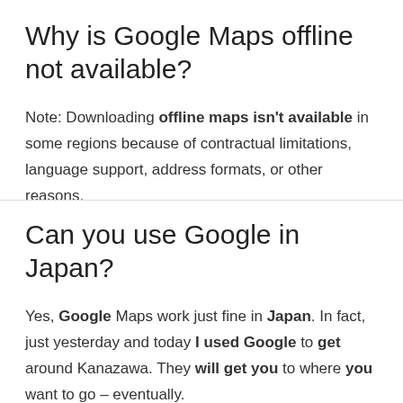Why is Google Maps offline not available?
Note: Downloading offline maps isn't available in some regions because of contractual limitations, language support, address formats, or other reasons.
Can you use Google in Japan?
Yes, Google Maps work just fine in Japan. In fact, just yesterday and today I used Google to get around Kanazawa. They will get you to where you want to go – eventually.